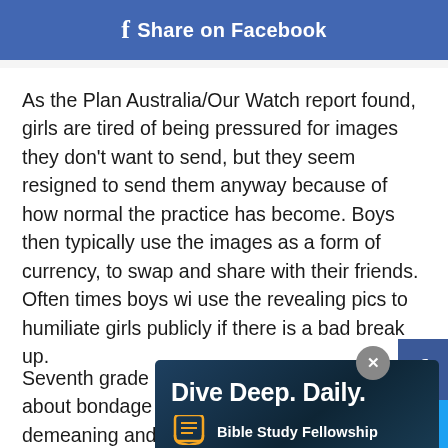f Share on Facebook
As the Plan Australia/Our Watch report found, girls are tired of being pressured for images they don't want to send, but they seem resigned to send them anyway because of how normal the practice has become. Boys then typically use the images as a form of currency, to swap and share with their friends. Often times boys will use the revealing pics to humiliate girls publicly if there is a bad break up.
Seventh grade girls are asking questions about bondage and S... rey, and w... stalk me, d... g demeaning and disrespectful behaviors, and thereby
[Figure (screenshot): Bible Study Fellowship ad overlay reading 'Dive Deep. Daily.' with logo icon]